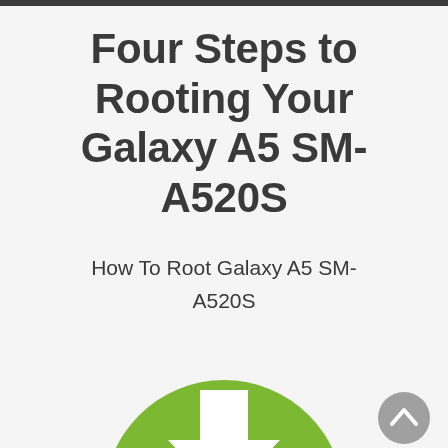Four Steps to Rooting Your Galaxy A5 SM-A520S
How To Root Galaxy A5 SM-A520S
[Figure (illustration): Green circular download button icon with a white downward arrow, partially cropped at the bottom of the page. A grey circular scroll-to-top button appears in the bottom right corner.]